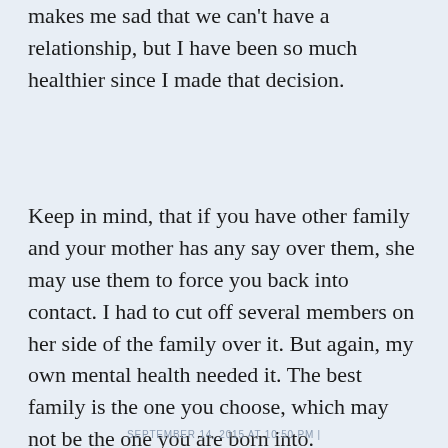makes me sad that we can't have a relationship, but I have been so much healthier since I made that decision.
Keep in mind, that if you have other family and your mother has any say over them, she may use them to force you back into contact. I had to cut off several members on her side of the family over it. But again, my own mental health needed it. The best family is the one you choose, which may not be the one you are born into.
SEPTEMBER 14, 2015 AT 10:50 PM |